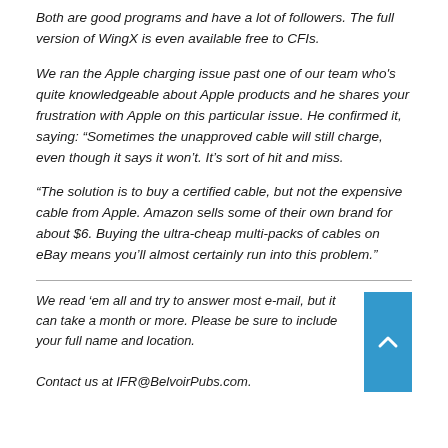Both are good programs and have a lot of followers. The full version of WingX is even available free to CFIs.
We ran the Apple charging issue past one of our team who's quite knowledgeable about Apple products and he shares your frustration with Apple on this particular issue. He confirmed it, saying: “Sometimes the unapproved cable will still charge, even though it says it won’t. It’s sort of hit and miss.
“The solution is to buy a certified cable, but not the expensive cable from Apple. Amazon sells some of their own brand for about $6. Buying the ultra-cheap multi-packs of cables on eBay means you’ll almost certainly run into this problem.”
We read ‘em all and try to answer most e-mail, but it can take a month or more. Please be sure to include your full name and location. Contact us at IFR@BelvoirPubs.com.